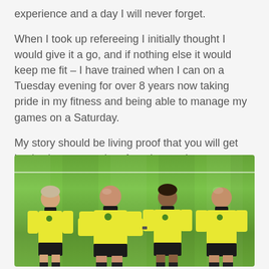experience and a day I will never forget.
When I took up refereeing I initially thought I would give it a go, and if nothing else it would keep me fit – I have trained when I can on a Tuesday evening for over 8 years now taking pride in my fitness and being able to manage my games on a Saturday.
My story should be living proof that you will get back what you put in refereeing, as I never thought for one minute I'd end up doing a Cup Final at Hampden.
[Figure (photo): Four referees in yellow shirts with black collars standing on a green football pitch at Hampden. They are posed in a line facing the camera.]